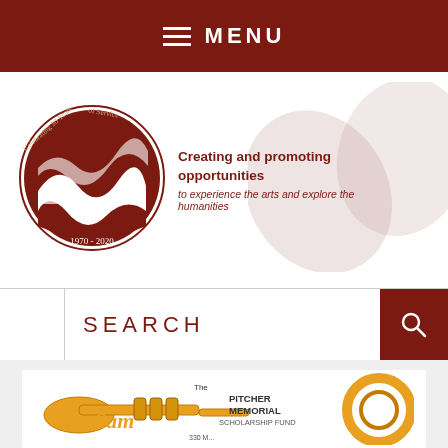MENU
[Figure (logo): Circular logo reading 'Celebrating 50 Years of Service 1970-2020' with a stylized landscape and wave design in dark red/maroon]
Creating and promoting opportunities to experience the arts and explore the humanities
[Figure (illustration): Light pink/mauve ghost butterfly or swirl decorative background element]
SEARCH
[Figure (illustration): The Sam Pitcher Memorial Scholarship Fund logo with a trumpet graphic in orange/gold, text reads 'The Sam Pitcher Memorial Scholarship Fund 330 M...']